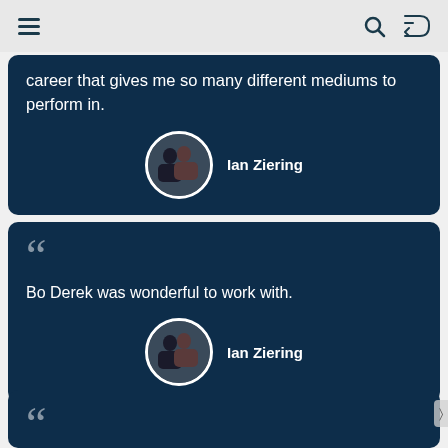Navigation bar with menu, search, and shuffle icons
career that gives me so many different mediums to perform in.
Ian Ziering
Bo Derek was wonderful to work with.
Ian Ziering
When I met my wife, I was forty-six, and it was love at first sight. Every day, my love grew deeper as I found out about
Ian Ziering